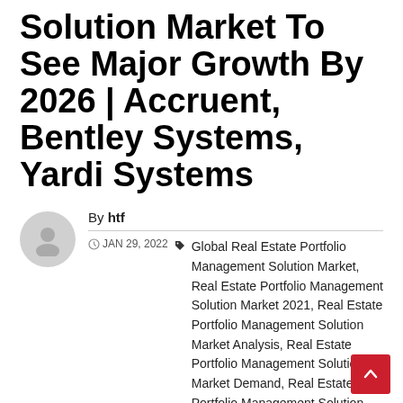Solution Market To See Major Growth By 2026 | Accruent, Bentley Systems, Yardi Systems
By htf
JAN 29, 2022  Global Real Estate Portfolio Management Solution Market, Real Estate Portfolio Management Solution Market 2021, Real Estate Portfolio Management Solution Market Analysis, Real Estate Portfolio Management Solution Market Demand, Real Estate Portfolio Management Solution Market Growth, Real Estate Portfolio